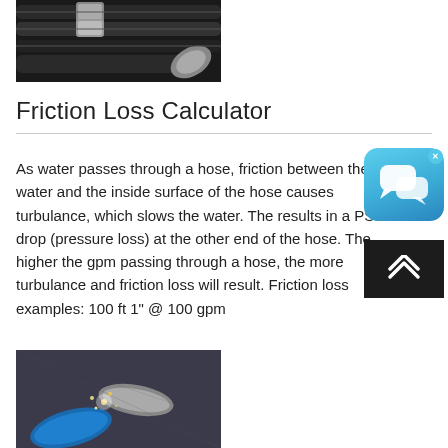[Figure (photo): Hydraulic hoses with metal fittings and connectors, dark rubber hoses bundled together]
Friction Loss Calculator
As water passes through a hose, friction between the water and the inside surface of the hose causes turbulance, which slows the water. The results in a PSI drop (pressure loss) at the other end of the hose. The higher the gpm passing through a hose, the more turbulance and friction loss will result. Friction loss examples: 100 ft 1" @ 100 gpm
[Figure (photo): Blue and metallic hoses or pipes with welding sparks, industrial setting]